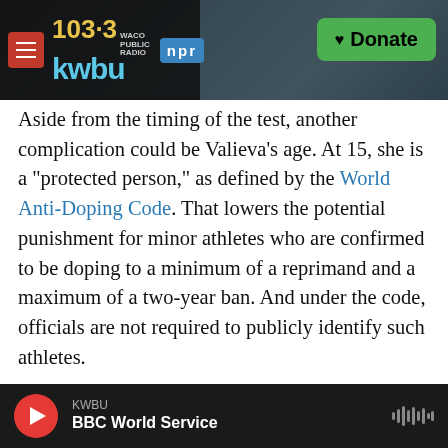KWBU 103.3 WACO PUBLIC RADIO | npr | Donate
Aside from the timing of the test, another complication could be Valieva's age. At 15, she is a "protected person," as defined by the World Anti-Doping Code. That lowers the potential punishment for minor athletes who are confirmed to be doping to a minimum of a reprimand and a maximum of a two-year ban. And under the code, officials are not required to publicly identify such athletes.
The U.S. Anti-Doping Agency says trimetazidine was added to the World Anti-Doping Agency's (WADA's) Prohibited List in 2014 — initially as a stimulant banned only during competition. But for
KWBU | BBC World Service